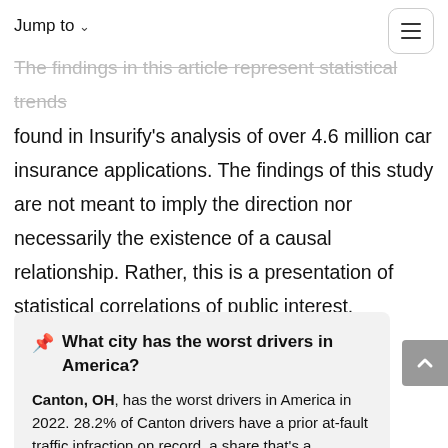Jump to
The findings in this article represent statistical trends found in Insurify's analysis of over 4.6 million car insurance applications. The findings of this study are not meant to imply the direction nor necessarily the existence of a causal relationship. Rather, this is a presentation of statistical correlations of public interest.
What city has the worst drivers in America?
Canton, OH, has the worst drivers in America in 2022. 28.2% of Canton drivers have a prior at-fault traffic infraction on record, a share that's a whopping 64% higher than the national average.